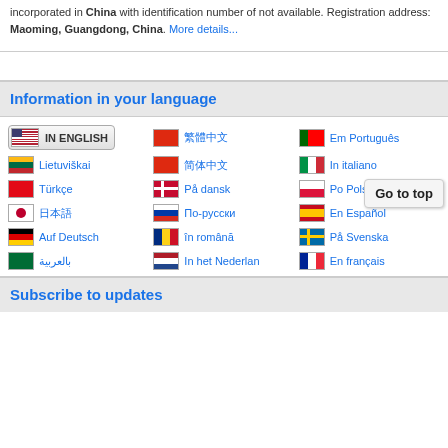incorporated in China with identification number of not available. Registration address: Maoming, Guangdong, China. More details...
Information in your language
IN ENGLISH | 繁體中文 | Em Português | Lietuviškai | 简体中文 | In italiano | Türkçe | På dansk | Po Polsku | 日本語 | По-русски | En Español | Auf Deutsch | în română | På Svenska | بالعربية | In het Nederlands | En français
Subscribe to updates